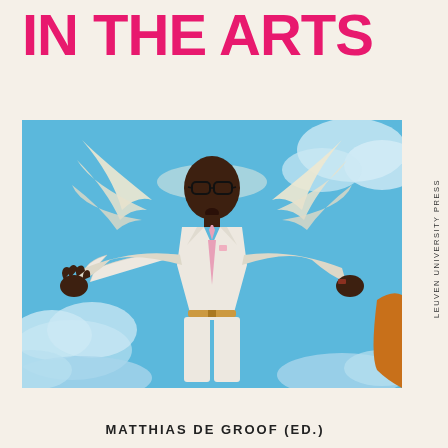IN THE ARTS
[Figure (illustration): Painting of a Black man in a white suit with angel wings, arms outstretched, floating in a blue sky with clouds. He wears glasses and a pink tie. Another arm visible on the right edge.]
LEUVEN UNIVERSITY PRESS
MATTHIAS DE GROOF (ed.)